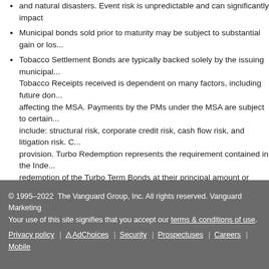and natural disasters. Event risk is unpredictable and can significantly impact
Municipal bonds sold prior to maturity may be subject to substantial gain or los...
Tobacco Settlement Bonds are typically backed solely by the issuing municipal... Tobacco Receipts received is dependent on many factors, including future don... affecting the MSA. Payments by the PMs under the MSA are subject to certain... include: structural risk, corporate credit risk, cash flow risk, and litigation risk. C... provision. Turbo Redemption represents the requirement contained in the Inde... redemption of the Turbo Term Bonds at their principal amount or Accreted Valu... Authority has collections higher than it needs to fulfill all requirements in the in... securities.
Build America Bonds (BABs) and Direct Pay Bonds are subject to an early rede... subsidy was cut, allowing the issuers to call their bonds at any time. Please re...
Certificate of Participation bonds (COPs) may be subject to an early redemptio... lower than what was quoted to you. These bonds may default or be called at p... for additional information.
Housing and student loan bonds may be subject to an early redemption, which... than what was quoted to you. Please refer to the Official Statement for additio...
© 1995–2022  The Vanguard Group, Inc. All rights reserved. Vanguard Marketing... Your use of this site signifies that you accept our terms & conditions of use. Privacy policy | AdChoices | Security | Prospectuses | Careers | Mobile